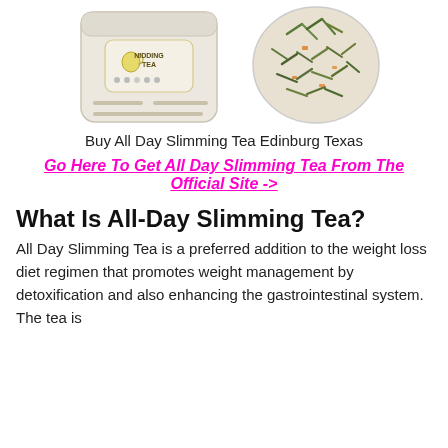[Figure (photo): Two product photos side by side: left shows a white/beige pouch of Nidding Tea with label, right shows a white bowl/plate filled with loose tea leaves and herbs.]
Buy All Day Slimming Tea Edinburg Texas
Go Here To Get All Day Slimming Tea From The Official Site ->
What Is All-Day Slimming Tea?
All Day Slimming Tea is a preferred addition to the weight loss diet regimen that promotes weight management by detoxification and also enhancing the gastrointestinal system. The tea is...